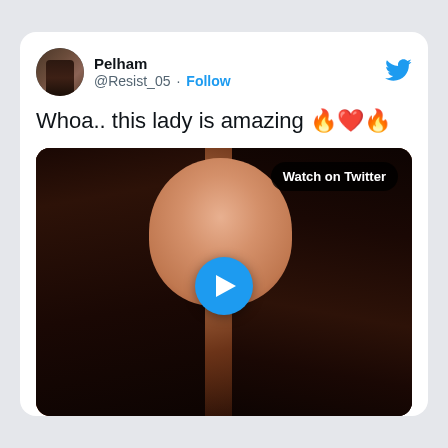Pelham @Resist_05 · Follow
Whoa.. this lady is amazing 🔥❤️🔥
[Figure (screenshot): Twitter/X tweet screenshot showing a video thumbnail of a young woman with long dark curly hair, with a blue play button in the center and a 'Watch on Twitter' badge in the top right corner. The tweet is by user Pelham (@Resist_05) with text 'Whoa.. this lady is amazing 🔥❤️🔥'.]